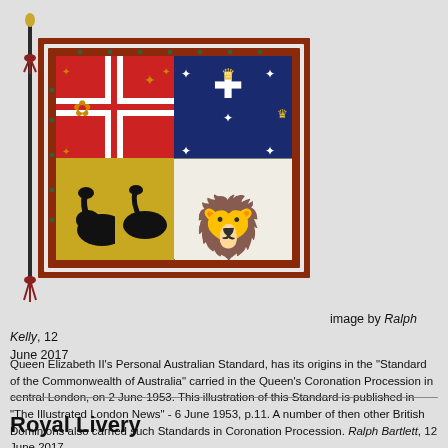[Figure (illustration): Queen Elizabeth II's Personal Australian Standard flag on a pole with tassels, showing heraldic quarters including crosses, stars, crown, black swan, and lion]
image by Ralph Kelly, 12 June 2017
Queen Elizabeth II's Personal Australian Standard, has its origins in the "Standard of the Commonwealth of Australia" carried in the Queen's Coronation Procession in central London, on 2 June 1953. This illustration of this Standard is published in "The Illustrated London News" - 6 June 1953, p.11. A number of then other British Dominions also carried such Standards in Coronation Procession. Ralph Bartlett, 12 June 2017
Royal Livery